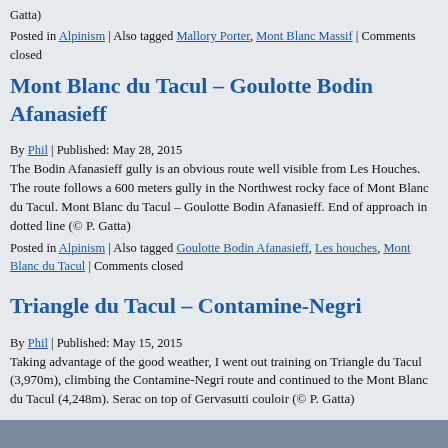Gatta)
Posted in Alpinism | Also tagged Mallory Porter, Mont Blanc Massif | Comments closed
Mont Blanc du Tacul – Goulotte Bodin Afanasieff
By Phil | Published: May 28, 2015
The Bodin Afanasieff gully is an obvious route well visible from Les Houches. The route follows a 600 meters gully in the Northwest rocky face of Mont Blanc du Tacul. Mont Blanc du Tacul – Goulotte Bodin Afanasieff. End of approach in dotted line (© P. Gatta)
Posted in Alpinism | Also tagged Goulotte Bodin Afanasieff, Les houches, Mont Blanc du Tacul | Comments closed
Triangle du Tacul – Contamine-Negri
By Phil | Published: May 15, 2015
Taking advantage of the good weather, I went out training on Triangle du Tacul (3,970m), climbing the Contamine-Negri route and continued to the Mont Blanc du Tacul (4,248m). Serac on top of Gervasutti couloir (© P. Gatta)